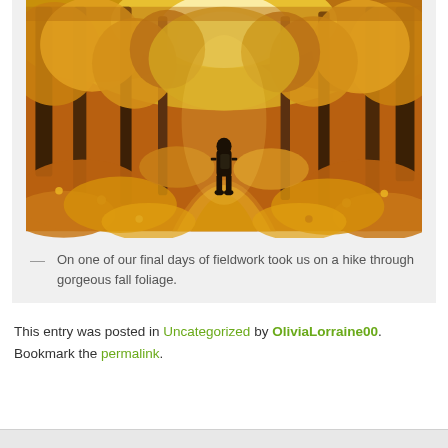[Figure (photo): Autumn forest trail covered in golden and orange fallen leaves, with a lone figure walking away from the camera through a tunnel of fall-foliage trees, sunlight visible ahead.]
— On one of our final days of fieldwork took us on a hike through gorgeous fall foliage.
This entry was posted in Uncategorized by OliviaLorraine00. Bookmark the permalink.